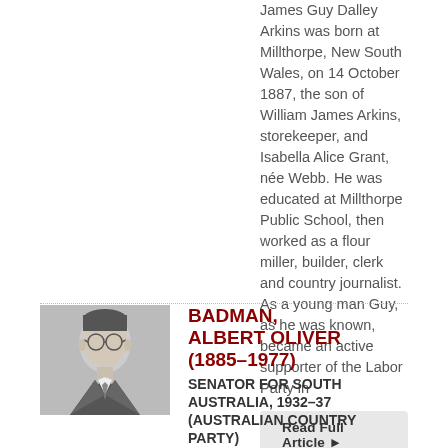James Guy Dalley Arkins was born at Millthorpe, New South Wales, on 14 October 1887, the son of William James Arkins, storekeeper, and Isabella Alice Grant, née Webb. He was educated at Millthorpe Public School, then worked as a flour miller, builder, clerk and country journalist. As a young man Guy, as he was known, became an active supporter of the Labor Party in
Read Full Article ▶
[Figure (photo): Black and white portrait photograph of Albert Oliver Badman, a man wearing glasses and a suit with tie.]
BADMAN, ALBERT OLIVER (1885–1977)
SENATOR FOR SOUTH AUSTRALIA, 1932–37 (AUSTRALIAN COUNTRY PARTY)